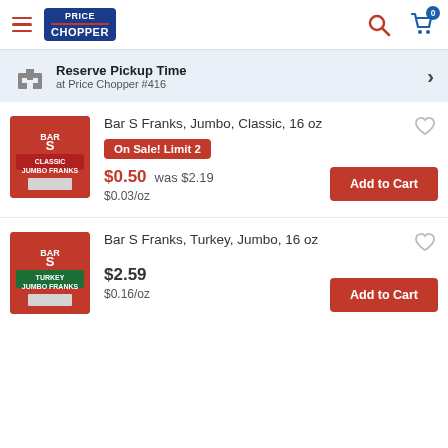Price Chopper
Reserve Pickup Time at Price Chopper #416
Bar S Franks, Jumbo, Classic, 16 oz
On Sale! Limit 2
$0.50 was $2.19
$0.03/oz
Bar S Franks, Turkey, Jumbo, 16 oz
$2.59
$0.16/oz